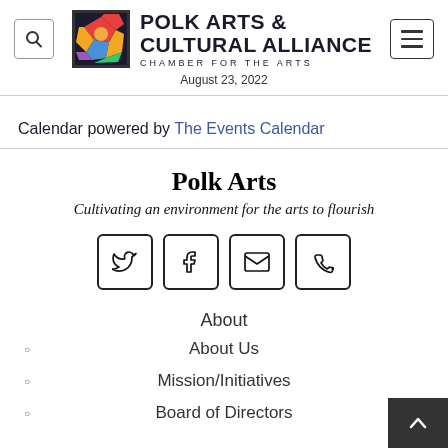POLK ARTS & CULTURAL ALLIANCE – CHAMBER FOR THE ARTS | August 23, 2022
Calendar powered by The Events Calendar
Polk Arts
Cultivating an environment for the arts to flourish
[Figure (infographic): Social media icon buttons: Twitter, Facebook, Email, Phone]
About
About Us
Mission/Initiatives
Board of Directors